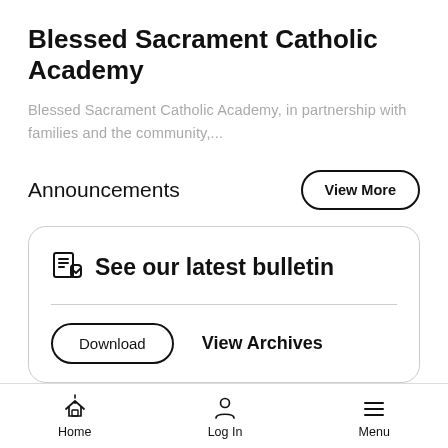Blessed Sacrament Catholic Academy
Blessed Sacrament Catholic Academy, in partnership with families and the community,...
Announcements
[Figure (other): View More button — pill-shaped outlined button]
[Figure (other): Bulletin card with icon and text 'See our latest bulletin', a horizontal divider, a Download pill button, and View Archives link]
Home  Log In  Menu